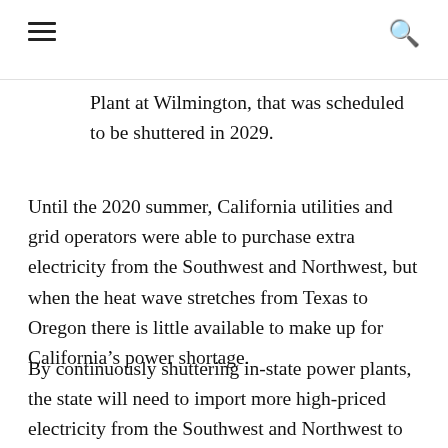☰  🔍
Plant at Wilmington, that was scheduled to be shuttered in 2029.
Until the 2020 summer, California utilities and grid operators were able to purchase extra electricity from the Southwest and Northwest, but when the heat wave stretches from Texas to Oregon there is little available to make up for California's power shortage.
By continuously shuttering in-state power plants, the state will need to import more high-priced electricity from the Southwest and Northwest to fill the void as the states